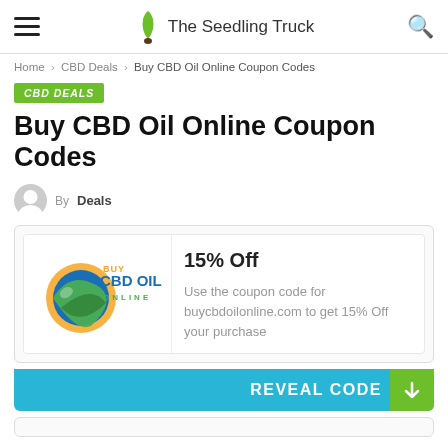The Seedling Truck
Home > CBD Deals > Buy CBD Oil Online Coupon Codes
CBD DEALS
Buy CBD Oil Online Coupon Codes
By Deals
[Figure (logo): Buy CBD Oil Online logo — blue and green globe with sun, text BUY CBD OIL ONLINE]
15% Off
Use the coupon code for buycbdoilonline.com to get 15% Off your purchase
REVEAL CODE